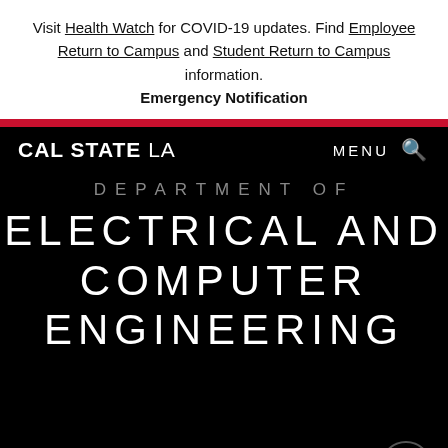Visit Health Watch for COVID-19 updates. Find Employee Return to Campus and Student Return to Campus information. Emergency Notification
CAL STATE LA | MENU 🔍
DEPARTMENT OF ELECTRICAL AND COMPUTER ENGINEERING